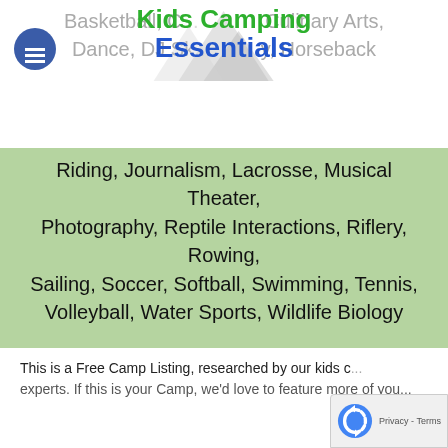Basketball, C[...], Culinary Arts, Dance, DJ Sk[...], Horseback Riding, Journalism, Lacrosse, Musical Theater, Photography, Reptile Interactions, Riflery, Rowing, Sailing, Soccer, Softball, Swimming, Tennis, Volleyball, Water Sports, Wildlife Biology
[Figure (logo): Kids Camping Essentials logo with mountain/tent graphic]
Riding, Journalism, Lacrosse, Musical Theater, Photography, Reptile Interactions, Riflery, Rowing, Sailing, Soccer, Softball, Swimming, Tennis, Volleyball, Water Sports, Wildlife Biology
Summer Camp Type? Traditional Camp Experience near Portland, ME
Waterfront Location? Lakeside
When Was the Camp Founded? 1949
This is a Free Camp Listing, researched by our kids c... experts. If this is your Camp, we'd love to feature more of you...